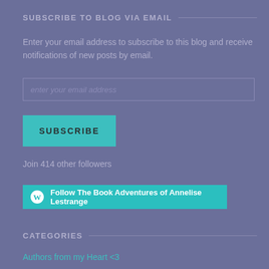SUBSCRIBE TO BLOG VIA EMAIL
Enter your email address to subscribe to this blog and receive notifications of new posts by email.
[Figure (screenshot): Email input field with placeholder text 'enter your email address']
[Figure (screenshot): Teal SUBSCRIBE button]
Join 414 other followers
[Figure (screenshot): Teal Follow button with WordPress icon: Follow The Book Adventures of Annelise Lestrange]
CATEGORIES
Authors from my Heart <3